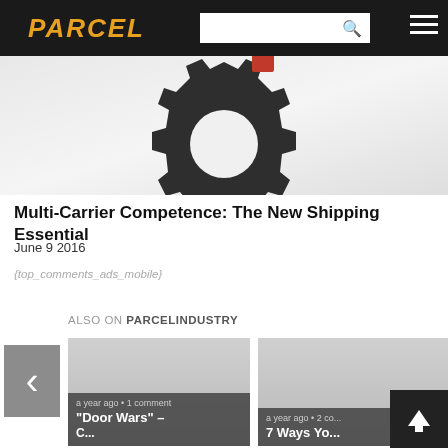PARCEL
[Figure (illustration): Dark gear/cog icon with a small red element, on a light gray gradient background]
Multi-Carrier Competence: The New Shipping Essential
June 9 2016
{top_comments_ads_mobile}
ALSO ON PARCELINDUSTRY
[Figure (screenshot): Card: a year ago • 1 comment — "Door Wars" – ...]
[Figure (screenshot): Card: a year ago • 2 co... — 7 Ways Yo...]